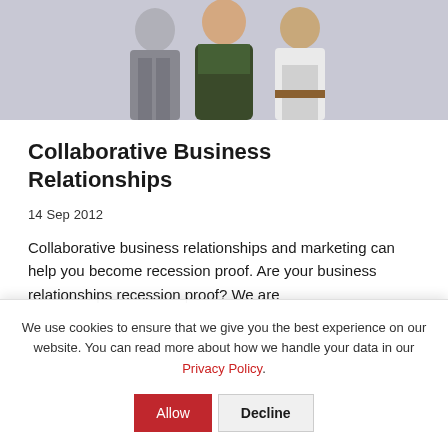[Figure (photo): Photograph of three people standing together against a light background, seen from waist up. A person in a grey suit on the left, a woman in a floral dress in the center, and a man in a white shirt on the right.]
Collaborative Business Relationships
14 Sep 2012
Collaborative business relationships and marketing can help you become recession proof. Are your business relationships recession proof? We are
We use cookies to ensure that we give you the best experience on our website. You can read more about how we handle your data in our Privacy Policy.